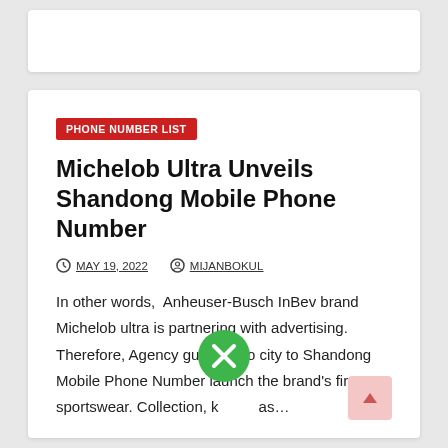PHONE NUMBER LIST
Michelob Ultra Unveils Shandong Mobile Phone Number
MAY 19, 2022   MIJANBOKUL
In other words,  Anheuser-Busch InBev brand Michelob ultra is partnering with advertising. Therefore, Agency gut Mexico city to Shandong Mobile Phone Number launch the brand's first sportswear. Collection, k as...